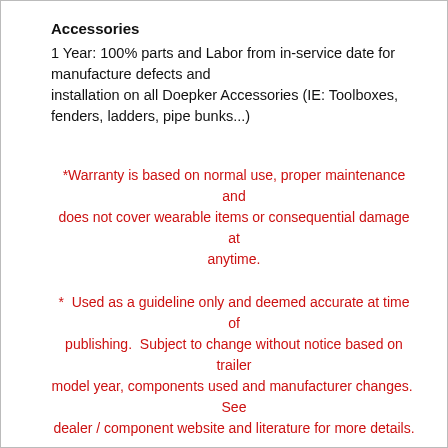Accessories
1 Year:  100% parts and Labor from in-service date for manufacture defects and installation on all Doepker Accessories (IE:  Toolboxes, fenders, ladders, pipe bunks...)
*Warranty is based on normal use, proper maintenance and does not cover wearable items or consequential damage at anytime.
*  Used as a guideline only and deemed accurate at time of publishing.  Subject to change without notice based on trailer model year, components used and manufacturer changes.  See dealer / component website and literature for more details.